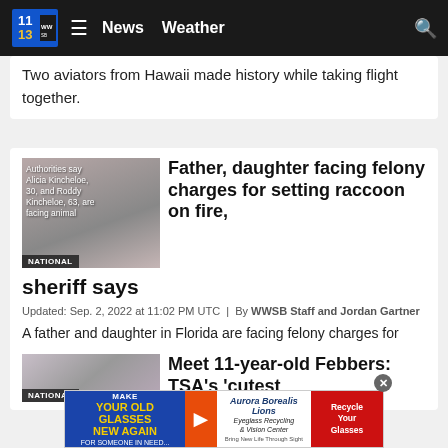News | Weather
Two aviators from Hawaii made history while taking flight together.
Father, daughter facing felony charges for setting raccoon on fire, sheriff says
Updated: Sep. 2, 2022 at 11:02 PM UTC  |  By WWSB Staff and Jordan Gartner
A father and daughter in Florida are facing felony charges for allegedly burning a young raccoon.
Meet 11-year-old Febbers: TSA's 'cutest
[Figure (screenshot): Advertisement banner: Make your old glasses new again for someone in need. Aurora Borealis Lions Eyeglass Recycling & Vision Center. Recycle Your Glasses.]